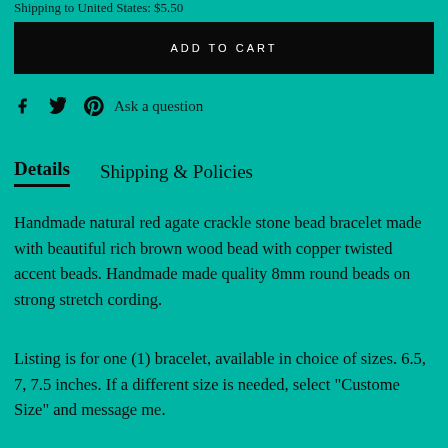Shipping to United States: $5.50
ADD TO CART
Ask a question
Details   Shipping & Policies
Handmade natural red agate crackle stone bead bracelet made with beautiful rich brown wood bead with copper twisted accent beads. Handmade made quality 8mm round beads on strong stretch cording.
Listing is for one (1) bracelet, available in choice of sizes. 6.5, 7, 7.5 inches. If a different size is needed, select "Custome Size" and message me.